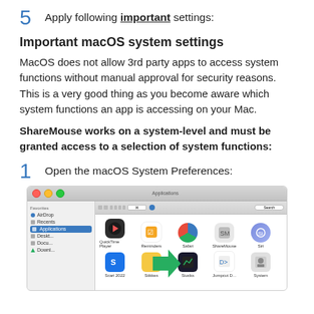5  Apply following important settings:
Important macOS system settings
MacOS does not allow 3rd party apps to access system functions without manual approval for security reasons. This is a very good thing as you become aware which system functions an app is accessing on your Mac.
ShareMouse works on a system-level and must be granted access to a selection of system functions:
1  Open the macOS System Preferences:
[Figure (screenshot): macOS Finder window showing Applications folder with app icons including QuickTime Player, Reminders, Safari, ShareMouse, Siri in top row and additional apps in second row. A green arrow cursor points to Applications in the sidebar.]